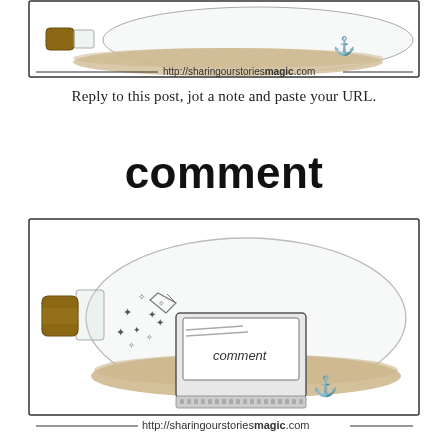[Figure (illustration): Top portion of a bottle-in-sand illustration with URL text http://sharingourstoriesmagic.com]
Reply to this post, jot a note and paste your URL.
comment
[Figure (illustration): Glass bottle lying on its side in sand, containing a laptop computer with 'comment' on screen, stars floating around it, cork stopper on left, small anchor on right. URL text: http://sharingourstoriesmagic.com]